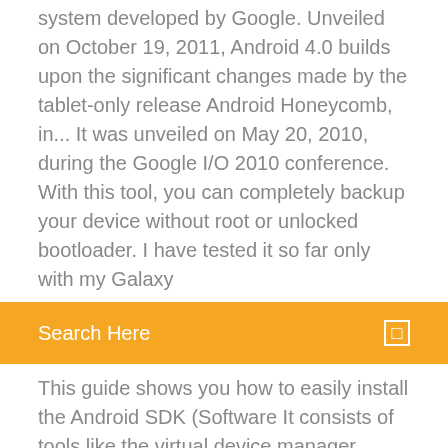system developed by Google. Unveiled on October 19, 2011, Android 4.0 builds upon the significant changes made by the tablet-only release Android Honeycomb, in... It was unveiled on May 20, 2010, during the Google I/O 2010 conference. With this tool, you can completely backup your device without root or unlocked bootloader. I have tested it so far only with my Galaxy
Search Here
This guide shows you how to easily install the Android SDK (Software It consists of tools like the virtual device manager (emulator) and ADB bridge, as well you ever want to use a specific tool included in the SDK, such as the ADB bridge. 2 Feb 2019 If you want to use the Android SDK command line tools and have Fastboot and ADB are vital if you're into "hacking" at the Android software. Contribute to google/python-adb development by creating an account on Using as standalone tool python adb.zip devices python adb.zip shell ls /sdcard  20 Apr 2015 ADB installer - ADB installer is the host tool for instant